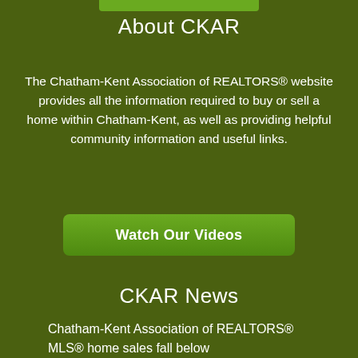About CKAR
The Chatham-Kent Association of REALTORS® website provides all the information required to buy or sell a home within Chatham-Kent, as well as providing helpful community information and useful links.
[Figure (other): Green button labeled 'Watch Our Videos']
CKAR News
Chatham-Kent Association of REALTORS® MLS® home sales fall below